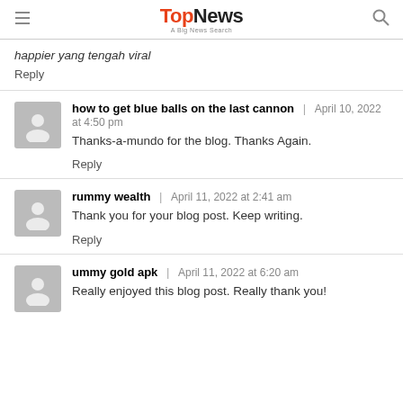TopNews — A Big News Search
happier yang tengah viral
Reply
how to get blue balls on the last cannon | April 10, 2022 at 4:50 pm
Thanks-a-mundo for the blog. Thanks Again.
Reply
rummy wealth | April 11, 2022 at 2:41 am
Thank you for your blog post. Keep writing.
Reply
ummy gold apk | April 11, 2022 at 6:20 am
Really enjoyed this blog post. Really thank you!